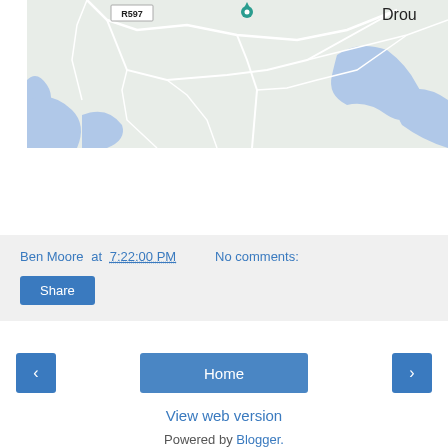[Figure (map): A map showing roads and water bodies including a road marked R597 and a partial label 'Drou' at top right. Teal location pin visible. White roads on light green background with blue water bodies.]
Ben Moore at 7:22:00 PM   No comments:
Share
‹
Home
›
View web version
Powered by Blogger.